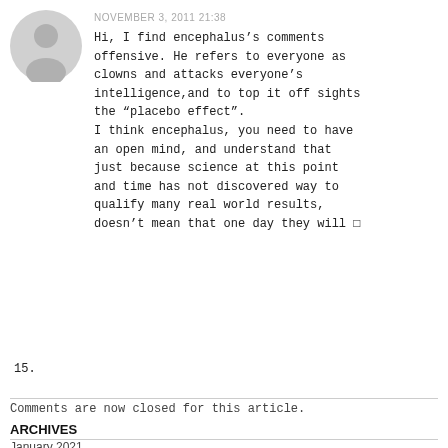NOVEMBER 3, 2011 21:38
Hi, I find encephalus’s comments offensive. He refers to everyone as clowns and attacks everyone’s intelligence,and to top it off sights the “placebo effect”.
I think encephalus, you need to have an open mind, and understand that just because science at this point and time has not discovered way to qualify many real world results, doesn’t mean that one day they will �
15.
Comments are now closed for this article.
ARCHIVES
January 2021